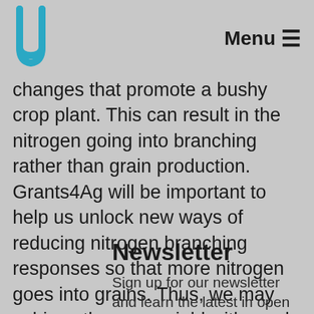Menu ☰
changes that promote a bushy crop plant. This can result in the nitrogen going into branching rather than grain production. Grants4Ag will be important to help us unlock new ways of reducing nitrogen branching responses so that more nitrogen goes into grains. Thus, we may achieve the same yield with much less fertilizer and thus reduce environmental and economic costs.
Newsletter
Sign up for our newsletter and learn the latest in open innovation